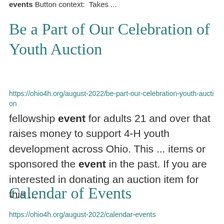events Button context:  Takes ...
Be a Part of Our Celebration of Youth Auction
https://ohio4h.org/august-2022/be-part-our-celebration-youth-auction
fellowship event for adults 21 and over that raises money to support 4-H youth development across Ohio. This ... items or sponsored the event in the past. If you are interested in donating an auction item for this ...
Calendar of Events
https://ohio4h.org/august-2022/calendar-events